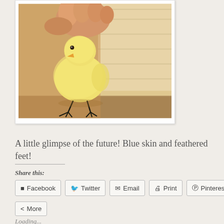[Figure (photo): A hand holding a small yellow baby chick (fluffy, with visible tiny dark claws on its feet and a small beak), photographed against a wooden paneled wall background with warm orange/tan tones.]
A little glimpse of the future! Blue skin and feathered feet!
Share this:
Facebook  Twitter  Email  Print  Pinterest
More
Loading...